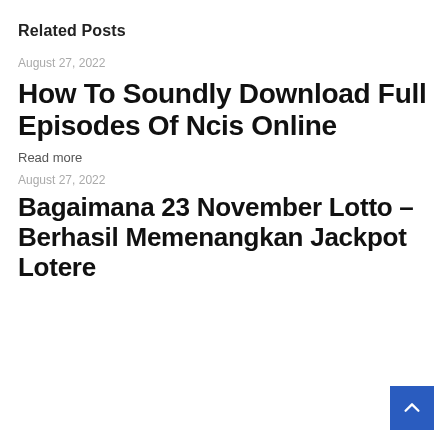Related Posts
August 27, 2022
How To Soundly Download Full Episodes Of Ncis Online
Read more
August 27, 2022
Bagaimana 23 November Lotto – Berhasil Memenangkan Jackpot Lotere